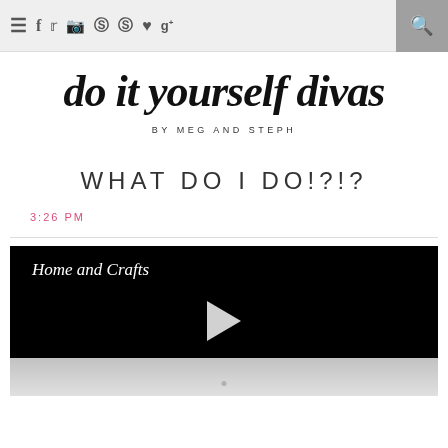Navigation bar with menu, social icons (Facebook, Twitter, Instagram, Pinterest, Pinterest, Bloglovin, Google+), and search button
do it yourself divas
BY MEG AND STEPH
WHAT DO I DO!?!?
3:26 PM
[Figure (screenshot): Video thumbnail with black background showing 'Home and Crafts' label in italic white text and a play button triangle in the center, with a grey reflection below]